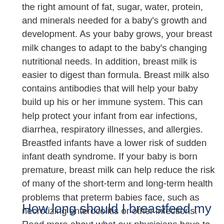the right amount of fat, sugar, water, protein, and minerals needed for a baby's growth and development. As your baby grows, your breast milk changes to adapt to the baby's changing nutritional needs. In addition, breast milk is easier to digest than formula. Breast milk also contains antibodies that will help your baby build up his or her immune system. This can help protect your infant from ear infections, diarrhea, respiratory illnesses, and allergies. Breastfed infants have a lower risk of sudden infant death syndrome. If your baby is born premature, breast milk can help reduce the risk of many of the short-term and long-term health problems that preterm babies face, such as necrotizing enterocolitis or other infections. Read more about what our physicians have to say about the benefits of breastfeeding.
How long should I breastfeed my